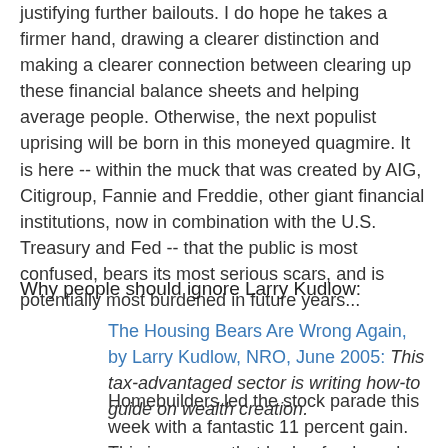justifying further bailouts. I do hope he takes a firmer hand, drawing a clearer distinction and making a clearer connection between clearing up these financial balance sheets and helping average people. Otherwise, the next populist uprising will be born in this moneyed quagmire. It is here -- within the muck that was created by AIG, Citigroup, Fannie and Freddie, other giant financial institutions, now in combination with the U.S. Treasury and Fed -- that the public is most confused, bears its most serious scars, and is potentially most burdened in future years...
Why people should ignore Larry Kudlow:
The Housing Bears Are Wrong Again, by Larry Kudlow, NRO, June 2005: This tax-advantaged sector is writing how-to guide on wealth creation.
Homebuilders led the stock parade this week with a fantastic 11 percent gain. This is a group that hedge funds and bubbleheads love to hate. All the bond bears have been dead wrong... So have